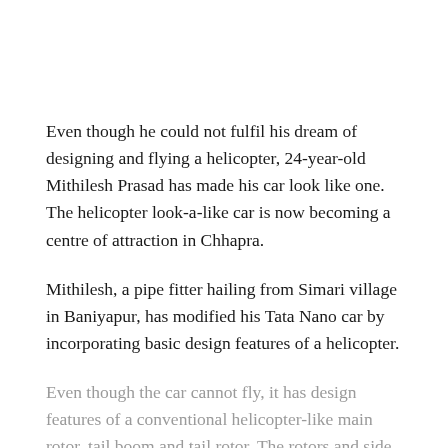Even though he could not fulfil his dream of designing and flying a helicopter, 24-year-old Mithilesh Prasad has made his car look like one. The helicopter look-a-like car is now becoming a centre of attraction in Chhapra.
Mithilesh, a pipe fitter hailing from Simari village in Baniyapur, has modified his Tata Nano car by incorporating basic design features of a helicopter.
Even though the car cannot fly, it has design features of a conventional helicopter-like main rotor, tail boom and tail rotor. The rotors and side panels are also fitted with colourful LED lights.